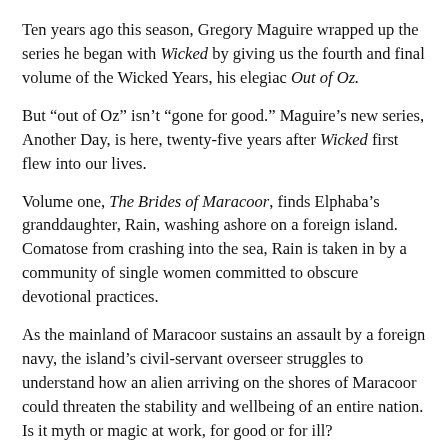Ten years ago this season, Gregory Maguire wrapped up the series he began with Wicked by giving us the fourth and final volume of the Wicked Years, his elegiac Out of Oz.
But “out of Oz” isn’t “gone for good.” Maguire’s new series, Another Day, is here, twenty-five years after Wicked first flew into our lives.
Volume one, The Brides of Maracoor, finds Elphaba’s granddaughter, Rain, washing ashore on a foreign island. Comatose from crashing into the sea, Rain is taken in by a community of single women committed to obscure devotional practices.
As the mainland of Maracoor sustains an assault by a foreign navy, the island’s civil-servant overseer struggles to understand how an alien arriving on the shores of Maracoor could threaten the stability and wellbeing of an entire nation. Is it myth or magic at work, for good or for ill?
The trilogy Another Day will follow this green-skinned girl from the island outpost into the unmapped badlands of Maracoor before she learns how, and becomes ready, to turn her broom homeward, back to her family and her lover, back to Oz, which